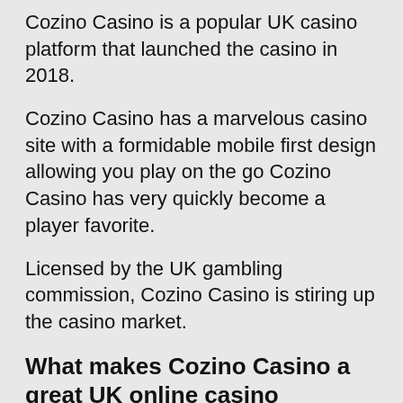Cozino Casino is a popular UK casino platform that launched the casino in 2018.
Cozino Casino has a marvelous casino site with a formidable mobile first design allowing you play on the go Cozino Casino has very quickly become a player favorite.
Licensed by the UK gambling commission, Cozino Casino is stiring up the casino market.
What makes Cozino Casino a great UK online casino
If you plan to play on a UK Online casino site you the player should always read through casino reviews to get a good understanding of the casino page. It's not hard to make a mistake and end up on a unlicensed casino